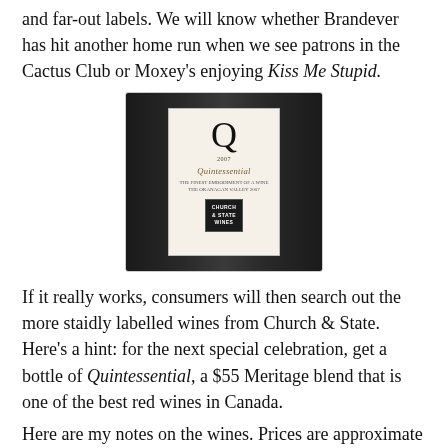and far-out labels. We will know whether Brandever has hit another home run when we see patrons in the Cactus Club or Moxey's enjoying Kiss Me Stupid.
[Figure (photo): A wine bottle with a white label featuring a large decorative Q, the year 2007, the name 'Quintessential' in italic script, subtext, and a Church & State Wines logo box at the bottom. The bottle is photographed against a dark background.]
If it really works, consumers will then search out the more staidly labelled wines from Church & State. Here's a hint: for the next special celebration, get a bottle of Quintessential, a $55 Meritage blend that is one of the best red wines in Canada.
Here are my notes on the wines. Prices are approximate because the government's new pricing regime is a bit hard to figure out.